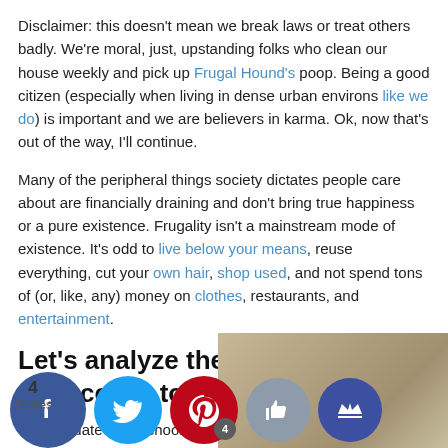Disclaimer: this doesn't mean we break laws or treat others badly. We're moral, just, upstanding folks who clean our house weekly and pick up Frugal Hound's poop. Being a good citizen (especially when living in dense urban environs like we do) is important and we are believers in karma. Ok, now that's out of the way, I'll continue.
Many of the peripheral things society dictates people care about are financially draining and don't bring true happiness or a pure existence. Frugality isn't a mainstream mode of existence. It's odd to live below your means, reuse everything, cut your own hair, shop used, and not spend tons of (or, like, any) money on clothes, restaurants, and entertainment.
Let's analyze the hamster wheel of success touted by society:
Graduate high school and atte... be... best u...